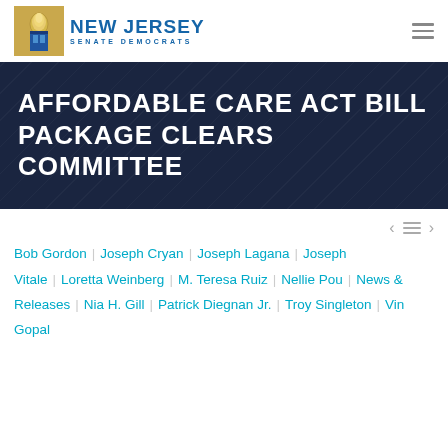New Jersey Senate Democrats
AFFORDABLE CARE ACT BILL PACKAGE CLEARS COMMITTEE
Bob Gordon | Joseph Cryan | Joseph Lagana | Joseph Vitale | Loretta Weinberg | M. Teresa Ruiz | Nellie Pou | News & Releases | Nia H. Gill | Patrick Diegnan Jr. | Troy Singleton | Vin Gopal